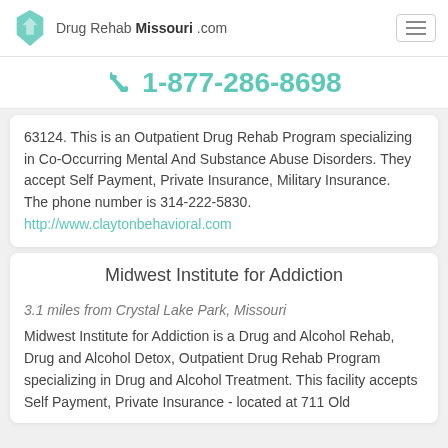Drug Rehab Missouri .com
1-877-286-8698
63124. This is an Outpatient Drug Rehab Program specializing in Co-Occurring Mental And Substance Abuse Disorders. They accept Self Payment, Private Insurance, Military Insurance.
The phone number is 314-222-5830.
http://www.claytonbehavioral.com
Midwest Institute for Addiction
3.1 miles from Crystal Lake Park, Missouri
Midwest Institute for Addiction is a Drug and Alcohol Rehab, Drug and Alcohol Detox, Outpatient Drug Rehab Program specializing in Drug and Alcohol Treatment. This facility accepts Self Payment, Private Insurance - located at 711 Old